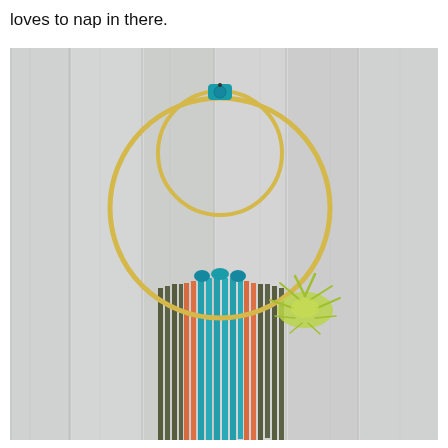loves to nap in there.
[Figure (photo): A decorative wall hanging (dream catcher style) mounted on a white painted wood plank fence. It features two gold/brass metal hoops (one large, one smaller inside), joined at the top with teal yarn wrapped around them. From the bottom of the large hoop hang long strands of yarn in teal/turquoise (center), orange/coral (sides), and dark olive/army green (outer edges). A small spiky green air plant (tillandsia) is attached to the right side of the hoop where the yarn begins.]